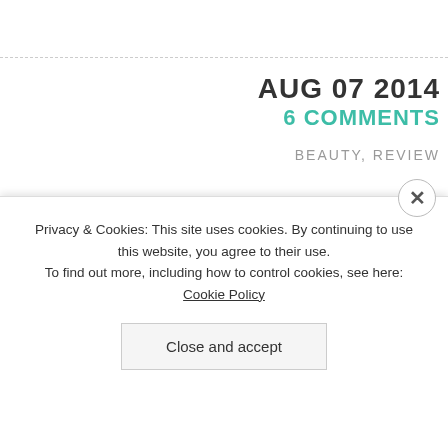Tagged  2014, 365, 365 picture challen
AUG 07 2014
6 COMMENTS
BEAUTY, REVIEW
EMPTIES: LOVE, LIKE OR
[Figure (photo): Photo of decorative boxes and glass perfume bottles on a shelf]
Privacy & Cookies: This site uses cookies. By continuing to use this website, you agree to their use.
To find out more, including how to control cookies, see here: Cookie Policy
Close and accept